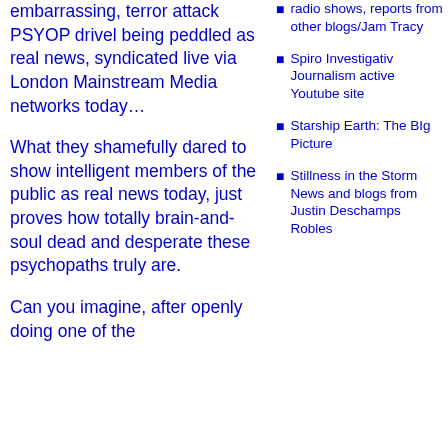embarrassing, terror attack PSYOP drivel being peddled as real news, syndicated live via London Mainstream Media networks today…
What they shamefully dared to show intelligent members of the public as real news today, just proves how totally brain-and-soul dead and desperate these psychopaths truly are.
Can you imagine, after openly doing one of the
radio shows, reports from other blogs/James Tracy
Spiro Investigative Journalism active Youtube site
Starship Earth: The Big Picture
Stillness in the Storm News and blogs from Justin Deschamps Robles